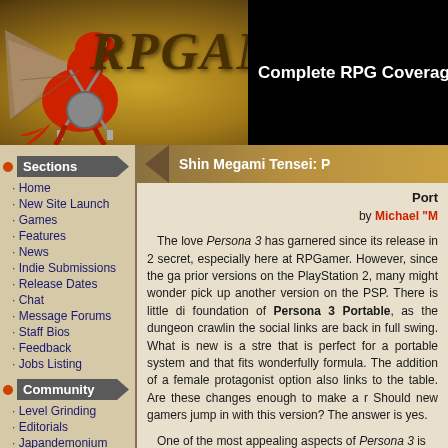[Figure (logo): RPGamer website header with red dragon logo, gold text 'RPGAMER' and tagline 'Complete RPG Coverage']
Sections
Home
New Site Launch
Games
Features
News
Indie Submissions
Release Dates
Chat
Message Forums
Staff Bios
Feedback
Jobs Listing
Community
Level Grinding
Editorials
Japandemonium
An Hour to Impress
Player vs. Player
Shin Megami Tensei: P
Port
by Michael "M
The love Persona 3 has garnered since its release in 2 secret, especially here at RPGamer. However, since the ga prior versions on the PlayStation 2, many might wonder pick up another version on the PSP. There is little di foundation of Persona 3 Portable, as the dungeon crawlin the social links are back in full swing. What is new is a stre that is perfect for a portable system and that fits wonderfully formula. The addition of a female protagonist option also links to the table. Are these changes enough to make a r Should new gamers jump in with this version? The answer is yes.
One of the most appealing aspects of Persona 3 is